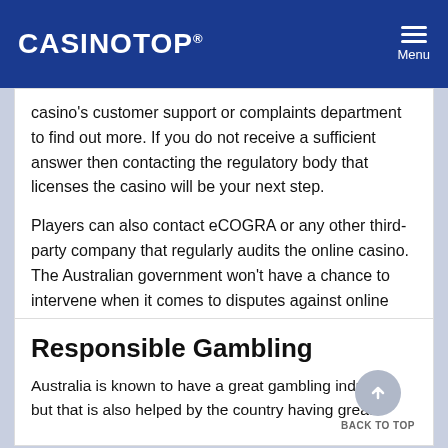CASINOTOP® Menu
casino's customer support or complaints department to find out more. If you do not receive a sufficient answer then contacting the regulatory body that licenses the casino will be your next step.
Players can also contact eCOGRA or any other third-party company that regularly audits the online casino. The Australian government won't have a chance to intervene when it comes to disputes against online casinos.
Responsible Gambling
Australia is known to have a great gambling industry, but that is also helped by the country having great